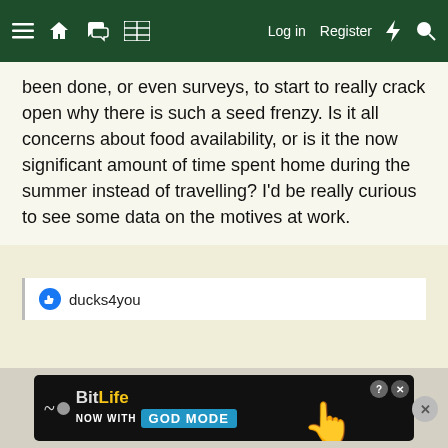≡  🏠  💬  ⊞  Log in  Register  ⚡  🔍
been done, or even surveys, to start to really crack open why there is such a seed frenzy. Is it all concerns about food availability, or is it the now significant amount of time spent home during the summer instead of travelling? I'd be really curious to see some data on the motives at work.
👍 ducks4you
[Figure (screenshot): BitLife advertisement banner: 'NOW WITH GOD MODE' with hand illustration]